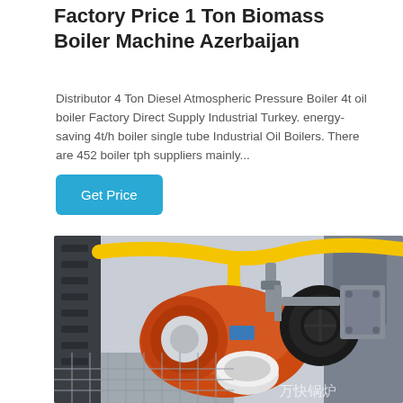Factory Price 1 Ton Biomass Boiler Machine Azerbaijan
Distributor 4 Ton Diesel Atmospheric Pressure Boiler 4t oil boiler Factory Direct Supply Industrial Turkey. energy-saving 4t/h boiler single tube Industrial Oil Boilers. There are 452 boiler tph suppliers mainly...
[Figure (photo): Industrial boiler machine with orange burner unit, yellow pipes, black motor/fan assembly, and grey casing. Chinese watermark text visible in bottom right corner.]